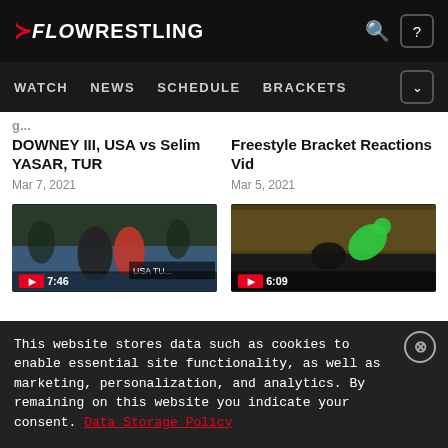FLOWRESTLING — WATCH NEWS SCHEDULE BRACKETS
DOWNEY III, USA vs Selim YASAR, TUR
Mar 7, 2021
Freestyle Bracket Reactions Vid
Mar 5, 2021
[Figure (screenshot): Wrestling match video thumbnail showing two wrestlers grappling, duration 7:46]
[Figure (screenshot): Acrobatic wrestling move video thumbnail showing athlete flipping, duration 6:09]
This website stores data such as cookies to enable essential site functionality, as well as marketing, personalization, and analytics. By remaining on this website you indicate your consent. Data Storage Policy